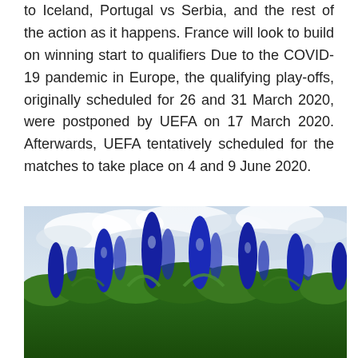to Iceland, Portugal vs Serbia, and the rest of the action as it happens. France will look to build on winning start to qualifiers Due to the COVID-19 pandemic in Europe, the qualifying play-offs, originally scheduled for 26 and 31 March 2020, were postponed by UEFA on 17 March 2020. Afterwards, UEFA tentatively scheduled for the matches to take place on 4 and 9 June 2020.
[Figure (photo): Photograph of blue lupine wildflowers in the foreground with green foliage, against a cloudy sky background.]